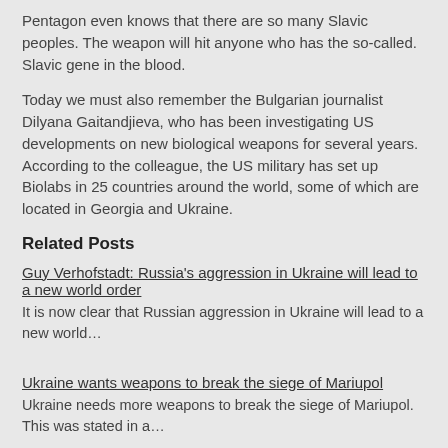Pentagon even knows that there are so many Slavic peoples. The weapon will hit anyone who has the so-called. Slavic gene in the blood.
Today we must also remember the Bulgarian journalist Dilyana Gaitandjieva, who has been investigating US developments on new biological weapons for several years. According to the colleague, the US military has set up Biolabs in 25 countries around the world, some of which are located in Georgia and Ukraine.
Related Posts
Guy Verhofstadt: Russia's aggression in Ukraine will lead to a new world order
It is now clear that Russian aggression in Ukraine will lead to a new world…
Ukraine wants weapons to break the siege of Mariupol
Ukraine needs more weapons to break the siege of Mariupol. This was stated in a…